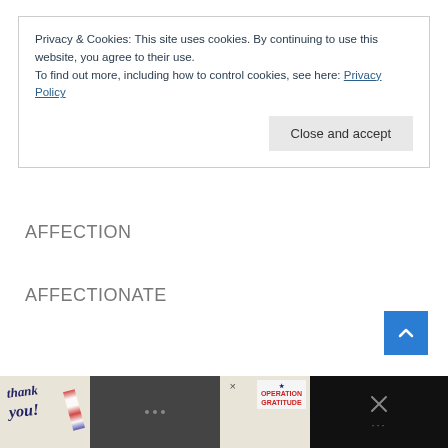Privacy & Cookies: This site uses cookies. By continuing to use this website, you agree to their use.
To find out more, including how to control cookies, see here: Privacy Policy
Close and accept
AFFECTION
AFFECTIONATE
[Figure (other): Blue scroll-to-top button with upward chevron arrow]
[Figure (photo): Advertisement banner: Thank You message with Operation Gratitude badge and group photo of firefighters/military personnel]